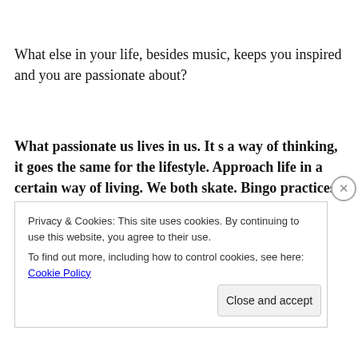What else in your life, besides music, keeps you inspired and you are passionate about?
What passionate us lives in us. It s a way of thinking, it goes the same for the lifestyle. Approach life in a certain way of living. We both skate. Bingo practices swim and paints, I for example make photos, but saying those things sounds very “hipster”, so it’s better doing it and not say too much. It seems like
Privacy & Cookies: This site uses cookies. By continuing to use this website, you agree to their use.
To find out more, including how to control cookies, see here: Cookie Policy
Close and accept